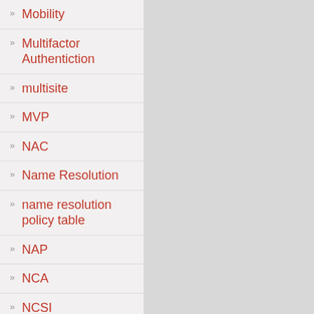Mobility
Multifactor Authentiction
multisite
MVP
NAC
Name Resolution
name resolution policy table
NAP
NCA
NCSI
NDES
NetMotion